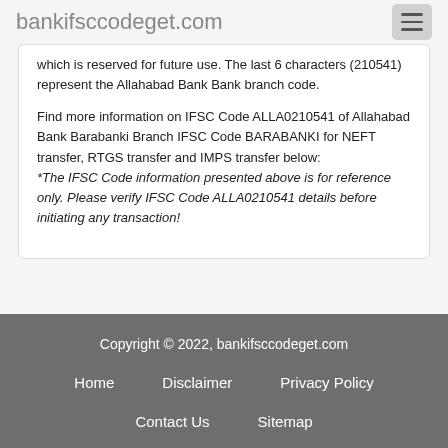bankifsccodeget.com
which is reserved for future use. The last 6 characters (210541) represent the Allahabad Bank Bank branch code.

Find more information on IFSC Code ALLA0210541 of Allahabad Bank Barabanki Branch IFSC Code BARABANKI for NEFT transfer, RTGS transfer and IMPS transfer below:
*The IFSC Code information presented above is for reference only. Please verify IFSC Code ALLA0210541 details before initiating any transaction!
Copyright © 2022, bankifsccodeget.com
Home    Disclaimer    Privacy Policy
Contact Us    Sitemap